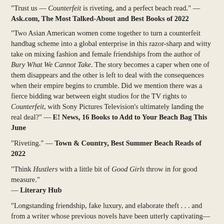"Trust us — Counterfeit is riveting, and a perfect beach read." — Ask.com, The Most Talked-About and Best Books of 2022
"Two Asian American women come together to turn a counterfeit handbag scheme into a global enterprise in this razor-sharp and witty take on mixing fashion and female friendships from the author of Bury What We Cannot Take. The story becomes a caper when one of them disappears and the other is left to deal with the consequences when their empire begins to crumble. Did we mention there was a fierce bidding war between eight studios for the TV rights to Counterfeit, with Sony Pictures Television's ultimately landing the real deal?" — E! News, 16 Books to Add to Your Beach Bag This June
"Riveting." — Town & Country, Best Summer Beach Reads of 2022
"Think Hustlers with a little bit of Good Girls throw in for good measure." — Literary Hub
"Longstanding friendship, fake luxury, and elaborate theft . . . and from a writer whose previous novels have been utterly captivating—yes, please." — Electric Literature, 62 Books By Women of Color to Read in 2022
"[Chen] comes up with a winner in this clever, sharp, and slyly funny novel about a long con. . . . A delightfully different caper novel with a Gone Girl–style plot twist." — Kirkus
"It's a breezy read with unexpected twists, carried along by Ava's